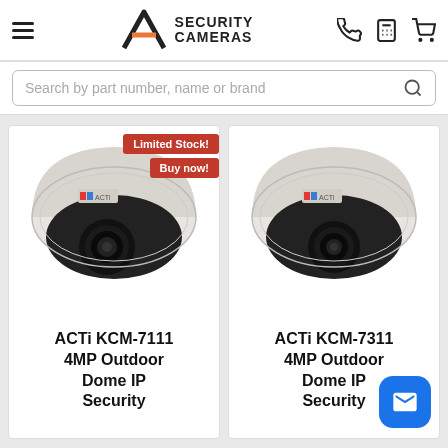A1 Security Cameras
Search by part number, name or brand
[Figure (photo): ACTi dome security camera (KCM-7111) with Limited Stock and Buy now badges]
ACTi KCM-7111 4MP Outdoor Dome IP Security
[Figure (photo): ACTi dome security camera (KCM-7311)]
ACTi KCM-7311 4MP Outdoor Dome IP Security